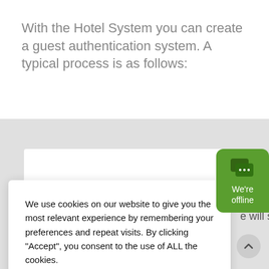With the Hotel System you can create a guest authentication system. A typical process is as follows:
[Figure (screenshot): Cookie consent dialog overlay on a gray background with a green chat bubble widget in the top right corner. The dialog contains cookie consent text, a 'Cookie settings' link, and an 'ACCEPT' button. Partially visible content behind dialog reads 'e will sign'.]
We use cookies on our website to give you the most relevant experience by remembering your preferences and repeat visits. By clicking “Accept”, you consent to the use of ALL the cookies.
Cookie settings
ACCEPT